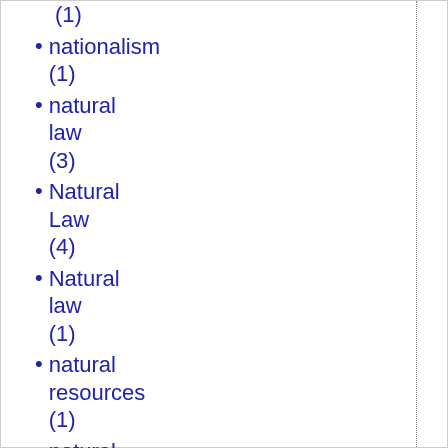(1)
nationalism (1)
natural law (3)
Natural Law (4)
Natural law (1)
natural resources (1)
natural theology (2)
naturalism (4)
Nazis (1)
Nazism (2)
neocons